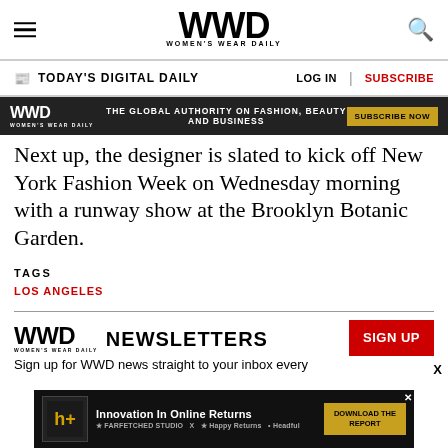WWD — Women's Wear Daily
TODAY'S DIGITAL DAILY | LOG IN | SUBSCRIBE
[Figure (screenshot): WWD advertisement banner: dark background with 'WWD' logo, text 'THE GLOBAL AUTHORITY ON FASHION, BEAUTY AND BUSINESS', and 'SUBSCRIBE NOW' button]
Next up, the designer is slated to kick off New York Fashion Week on Wednesday morning with a runway show at the Brooklyn Botanic Garden.
TAGS
LOS ANGELES
[Figure (logo): WWD Newsletters logo with sign up button]
Sign up for WWD news straight to your inbox every
[Figure (screenshot): Bottom advertisement: Innovation In Online Returns - Download The Report, with Happy Returns logo]